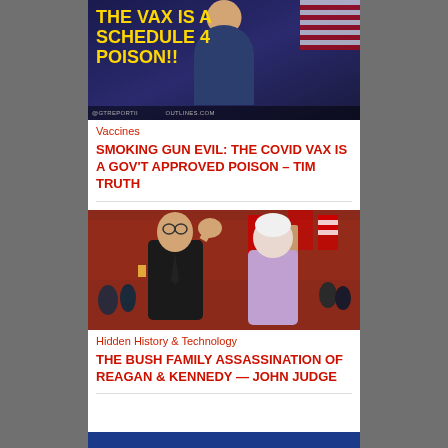[Figure (photo): Screenshot of a video or meme with yellow bold text 'THE VAX IS A SCHEDULE 4 POISON!!' overlaid on an image of a man, with watermark text at the bottom]
Vaccines
SMOKING GUN EVIL: THE COVID VAX IS A GOV'T APPROVED POISON – TIM TRUTH
[Figure (photo): Historical photograph of George H.W. Bush and Barbara Bush waving in front of the Gate of Heavenly Peace (Tiananmen) in Beijing, China, with a crowd in the background]
Hidden History & Technology
THE BUSH FAMILY ASSASSINATION OF REAGAN & KENNEDY — JOHN JUDGE
[Figure (screenshot): Partial blue strip at the bottom indicating another article below]